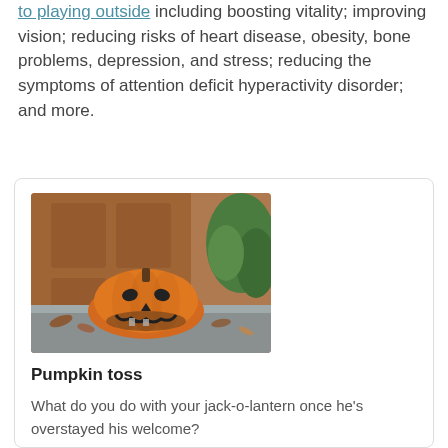to playing outside including boosting vitality; improving vision; reducing risks of heart disease, obesity, bone problems, depression, and stress; reducing the symptoms of attention deficit hyperactivity disorder; and more.
[Figure (photo): A carved jack-o-lantern pumpkin sitting on a porch step in front of a wooden door, with green plants to the right and fallen leaves around it. The pumpkin is sagging and decomposing.]
Pumpkin toss
What do you do with your jack-o-lantern once he's overstayed his welcome?
When your pumpkin begins to sag and smell, your first thought might be to pitch it into the garbage. Did you know pumpkins can't be thrown away in